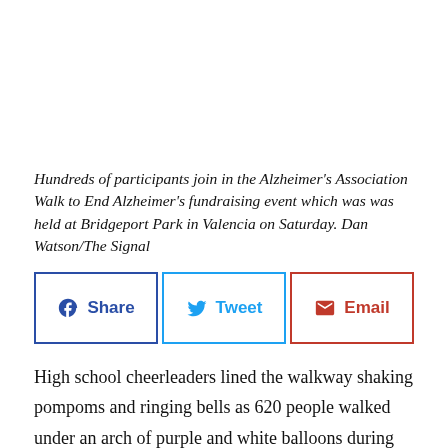Hundreds of participants join in the Alzheimer's Association Walk to End Alzheimer's fundraising event which was was held at Bridgeport Park in Valencia on Saturday. Dan Watson/The Signal
[Figure (other): Social sharing buttons: Share (Facebook), Tweet (Twitter), Email]
High school cheerleaders lined the walkway shaking pompoms and ringing bells as 620 people walked under an arch of purple and white balloons during the 4th annual Alzheimer's Association Walk to End Alzheimer's Santa Clarita